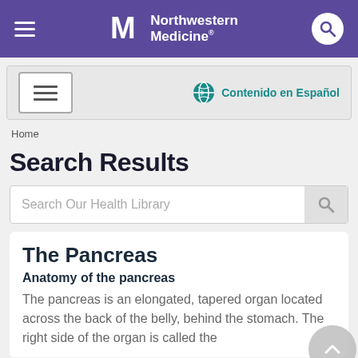Northwestern Medicine
[Figure (screenshot): Navigation bar with hamburger menu and Contenido en Español link with globe icon]
Home
Search Results
[Figure (screenshot): Search input box with placeholder text 'Search Our Health Library' and a search icon button]
The Pancreas
Anatomy of the pancreas
The pancreas is an elongated, tapered organ located across the back of the belly, behind the stomach. The right side of the organ is called the